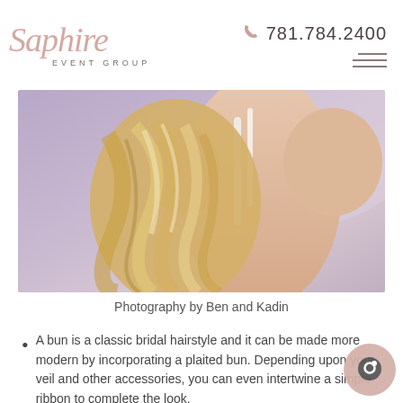Saphire EVENT GROUP  —  781.784.2400
[Figure (photo): Back view of a bride with long blonde wavy/braided hair in a white wedding dress, blurred purple and neutral background]
Photography by Ben and Kadin
A bun is a classic bridal hairstyle and it can be made more modern by incorporating a plaited bun. Depending upon your veil and other accessories, you can even intertwine a simple ribbon to complete the look.